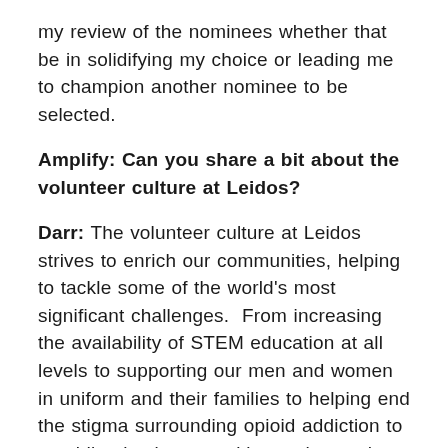my review of the nominees whether that be in solidifying my choice or leading me to champion another nominee to be selected.
Amplify: Can you share a bit about the volunteer culture at Leidos?
Darr: The volunteer culture at Leidos strives to enrich our communities, helping to tackle some of the world's most significant challenges. From increasing the availability of STEM education at all levels to supporting our men and women in uniform and their families to helping end the stigma surrounding opioid addiction to providing basic necessities to those who are most vulnerable, to instilling the importance of integrity in our youth, Leidos strives to improve its